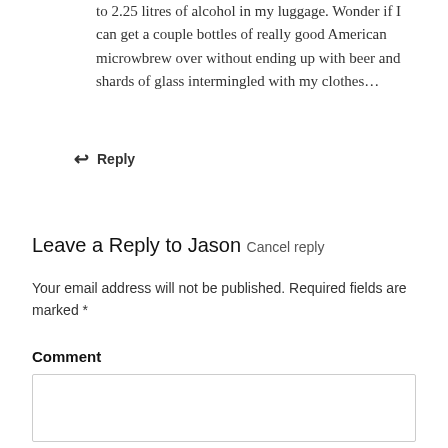to 2.25 litres of alcohol in my luggage. Wonder if I can get a couple bottles of really good American microwbrew over without ending up with beer and shards of glass intermingled with my clothes…
↩ Reply
Leave a Reply to Jason Cancel reply
Your email address will not be published. Required fields are marked *
Comment